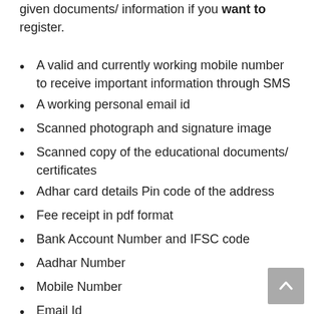given documents/ information if you want to register.
A valid and currently working mobile number to receive important information through SMS
A working personal email id
Scanned photograph and signature image
Scanned copy of the educational documents/ certificates
Adhar card details Pin code of the address
Fee receipt in pdf format
Bank Account Number and IFSC code
Aadhar Number
Mobile Number
Email Id